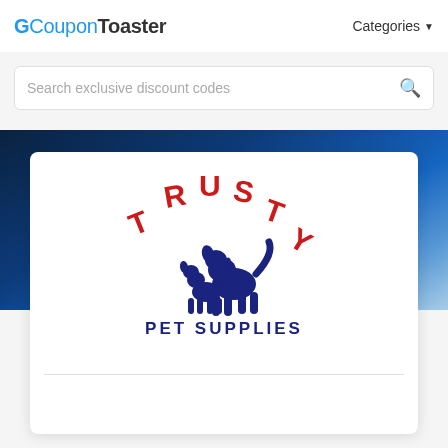CouponToaster   Categories
Search exclusive discount codes
[Figure (logo): Trusty Pet Supplies logo: red arched text TRUSTY above two blue dog silhouettes, with PET SUPPLIES text below in navy blue]